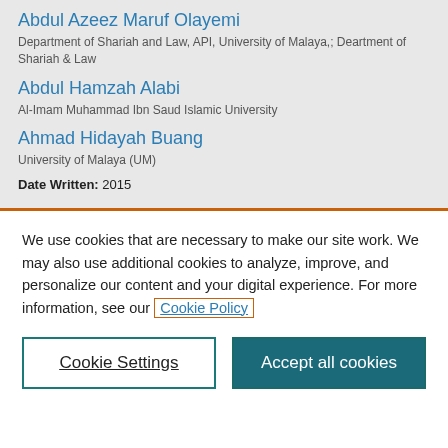Abdul Azeez Maruf Olayemi
Department of Shariah and Law, API, University of Malaya,; Deartment of Shariah & Law
Abdul Hamzah Alabi
Al-Imam Muhammad Ibn Saud Islamic University
Ahmad Hidayah Buang
University of Malaya (UM)
Date Written: 2015
We use cookies that are necessary to make our site work. We may also use additional cookies to analyze, improve, and personalize our content and your digital experience. For more information, see our Cookie Policy
Cookie Settings
Accept all cookies